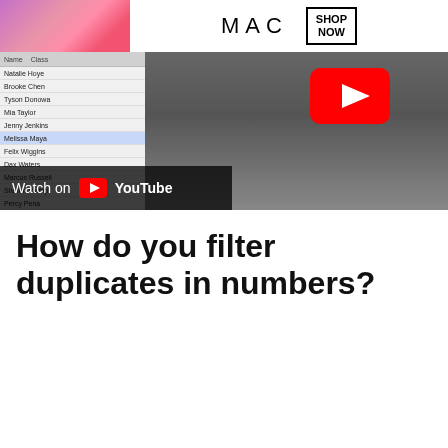[Figure (screenshot): YouTube video thumbnail showing a man's face with a spreadsheet panel on the left showing names, a MAC cosmetics advertisement banner at the top, and a YouTube play button overlay. A 'Watch on YouTube' bar appears at the bottom left.]
How do you filter duplicates in numbers?
[Figure (screenshot): Second YouTube video thumbnail for 'Eliminating Or Merging Duplicate Rows In Numbers' by MacMost channel, showing the MacMost logo, a CLOSE button, and an advertisement strip at the bottom with lipstick/makeup images, ULTA Beauty logo, and a SHOP NOW button.]